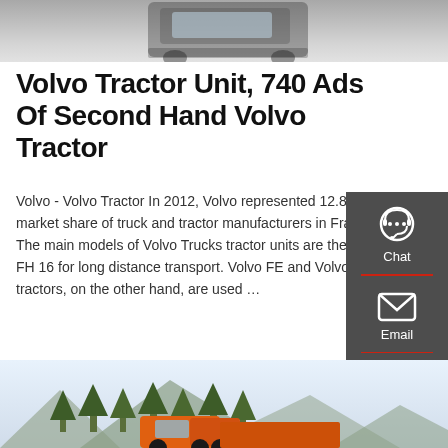[Figure (photo): Top portion of a Volvo truck/tractor unit photo, cropped, showing cab on grey surface]
Volvo Tractor Unit, 740 Ads Of Second Hand Volvo Tractor
Volvo - Volvo Tractor In 2012, Volvo represented 12.8% of the market share of truck and tractor manufacturers in France. The main models of Volvo Trucks tractor units are the FH and FH 16 for long distance transport. Volvo FE and Volvo FL tractors, on the other hand, are used …
[Figure (infographic): Side contact panel with Chat, Email, Contact icons on dark grey background]
GET A QUOTE
[Figure (photo): Bottom photo showing an orange Volvo truck with trees and mountains in background]